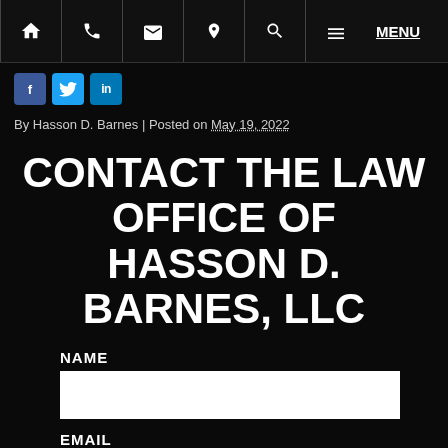Navigation bar with home, phone, email, location, search, menu icons and MENU link
[Figure (screenshot): Social media buttons: Facebook (blue), Twitter (light blue), LinkedIn (blue)]
By Hasson D. Barnes | Posted on May 19, 2022
CONTACT THE LAW OFFICE OF HASSON D. BARNES, LLC
NAME
EMAIL
PHONE